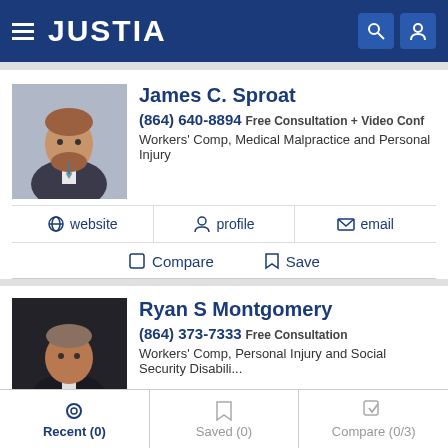JUSTIA
James C. Sproat
(864) 640-8894 Free Consultation + Video Conf
Workers' Comp, Medical Malpractice and Personal Injury
website | profile | email
Compare | Save
Ryan S Montgomery
(864) 373-7333 Free Consultation
Workers' Comp, Personal Injury and Social Security Disabili...
website | profile | email
Recent (0) | Saved (0) | Compare (0/3)